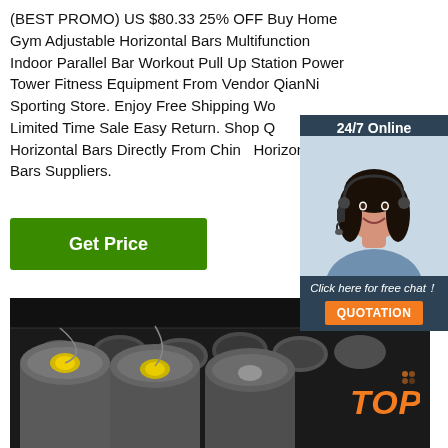(BEST PROMO) US $80.33 25% OFF Buy Home Gym Adjustable Horizontal Bars Multifunction Indoor Parallel Bar Workout Pull Up Station Power Tower Fitness Equipment From Vendor QianNi Sporting Store. Enjoy Free Shipping Worldwide! Limited Time Sale Easy Return. Shop Quality Best Horizontal Bars Directly From China Horizontal Bars Suppliers.
Get Price
[Figure (photo): Customer service representative widget with '24/7 Online' header, photo of smiling woman with headset, 'Click here for free chat!' text and orange QUOTATION button]
[Figure (photo): Industrial photo of large round steel bars/rods in a factory warehouse setting, viewed from the end showing circular cross-sections]